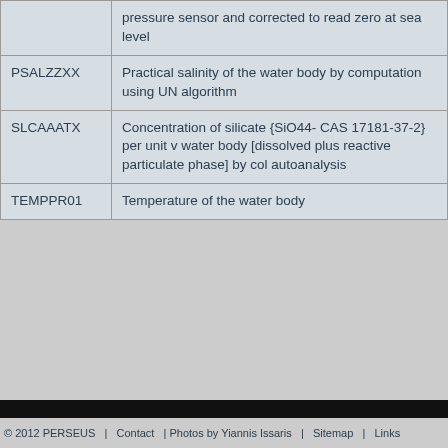| Code | Description |
| --- | --- |
|  | pressure sensor and corrected to read zero at sea level |
| PSALZZXX | Practical salinity of the water body by computation using UN algorithm |
| SLCAAATX | Concentration of silicate {SiO44- CAS 17181-37-2} per unit v water body [dissolved plus reactive particulate phase] by col autoanalysis |
| TEMPPR01 | Temperature of the water body |
© 2012 PERSEUS   |   Contact   | Photos by Yiannis Issaris   |   Sitemap   |   Links